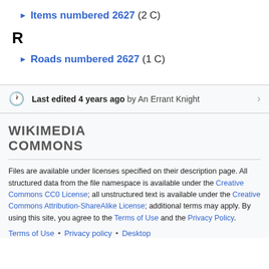► Items numbered 2627 (2 C)
R
► Roads numbered 2627 (1 C)
Last edited 4 years ago by An Errant Knight
WIKIMEDIA COMMONS
Files are available under licenses specified on their description page. All structured data from the file namespace is available under the Creative Commons CC0 License; all unstructured text is available under the Creative Commons Attribution-ShareAlike License; additional terms may apply. By using this site, you agree to the Terms of Use and the Privacy Policy.
Terms of Use • Privacy policy • Desktop